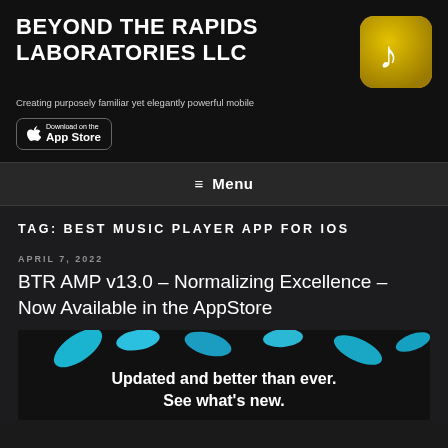BEYOND THE RAPIDS LABORATORIES LLC
Creating purposely familiar yet elegantly powerful mobile
[Figure (logo): App Store download badge with Apple logo]
[Figure (logo): App icon: dark rounded square with golden background and white music note symbol]
≡ Menu
TAG: BEST MUSIC PLAYER APP FOR IOS
APRIL 7, 2022
BTR AMP v13.0 – Normalizing Excellence – Now Available in the AppStore
[Figure (screenshot): Promotional image with blue and teal leaf/petal shapes on dark background with text: Updated and better than ever. See what's new.]